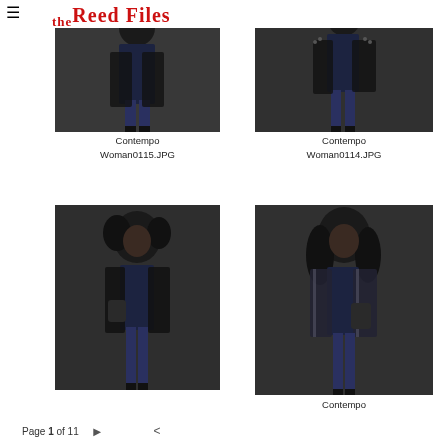The Reed Files
[Figure (photo): Photo of a woman in jeans and dark jacket, standing, photographed from about mid-thigh up, dark studio background]
Contempo Woman0115.JPG
[Figure (photo): Photo of a woman in jeans and dark spiked jacket, standing full length, dark studio background]
Contempo Woman0114.JPG
[Figure (photo): Photo of a woman with curly hair in jeans and dark jacket holding a bag, standing full length, dark studio background]
[Figure (photo): Photo of a woman with long curly hair in jeans and striped jacket holding a bag, standing full length, dark studio background]
Contempo Woman0120.JPG
Page 1 of 11  >  <